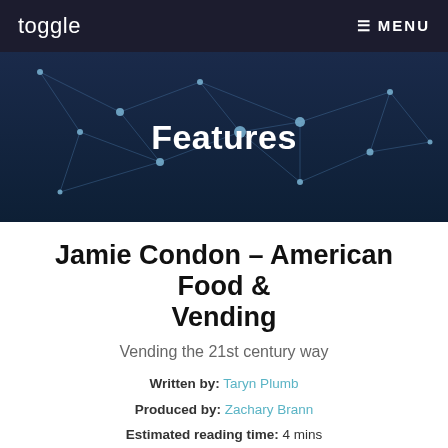toggle   ≡ MENU
[Figure (illustration): Dark blue hero banner with geometric network/constellation pattern (connected dots and lines) and the word 'Features' in large bold white text centered over the image.]
Jamie Condon – American Food & Vending
Vending the 21st century way
Written by: Taryn Plumb
Produced by: Zachary Brann
Estimated reading time: 4 mins
[Figure (infographic): Three social sharing buttons: Facebook Share (dark blue), Tweet (light blue), LinkedIn Share (teal-blue)]